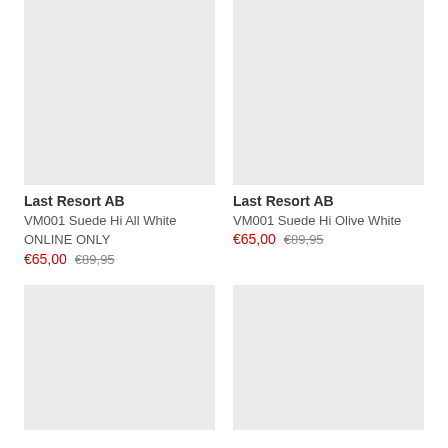[Figure (photo): Product image placeholder - light grey rectangle, top-left product]
[Figure (photo): Product image placeholder - light grey rectangle, top-right product]
Last Resort AB
VM001 Suede Hi All White
ONLINE ONLY
€65,00 €89,95
Last Resort AB
VM001 Suede Hi Olive White
€65,00 €89,95
[Figure (photo): Product image placeholder - light grey rectangle, bottom-left product]
[Figure (photo): Product image placeholder - light grey rectangle, bottom-right product]